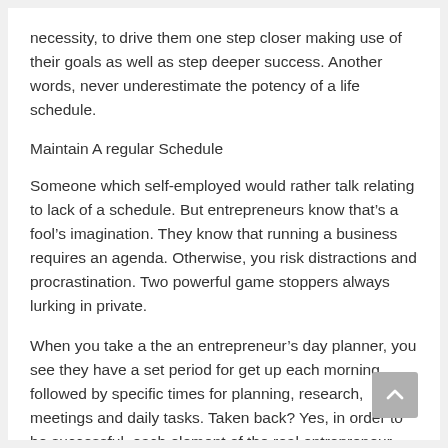necessity, to drive them one step closer making use of their goals as well as step deeper success. Another words, never underestimate the potency of a life schedule.
Maintain A regular Schedule
Someone which self-employed would rather talk relating to lack of a schedule. But entrepreneurs know that’s a fool’s imagination. They know that running a business requires an agenda. Otherwise, you risk distractions and procrastination. Two powerful game stoppers always lurking in private.
When you take a the an entrepreneur’s day planner, you see they have a set period for get up each morning, followed by specific times for planning, research, meetings and daily tasks. Taken back? Yes, in order to be successful, each element of the real entrepreneur lifestyle must be pre-planned.